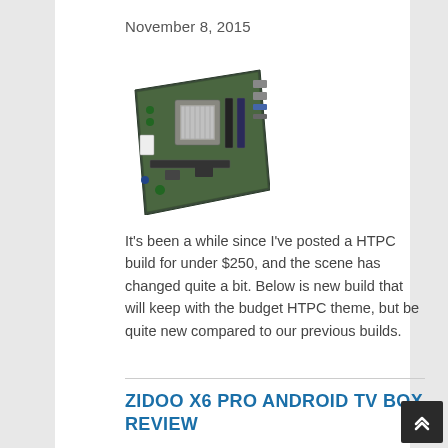November 8, 2015
[Figure (photo): A mini-ITX motherboard photographed at an angle, showing the circuit board with CPU socket, heatsink, RAM slots, and various ports.]
It's been a while since I've posted a HTPC build for under $250, and the scene has changed quite a bit. Below is new build that will keep with the budget HTPC theme, but be quite new compared to our previous builds.
ZIDOO X6 PRO ANDROID TV BOX REVIEW